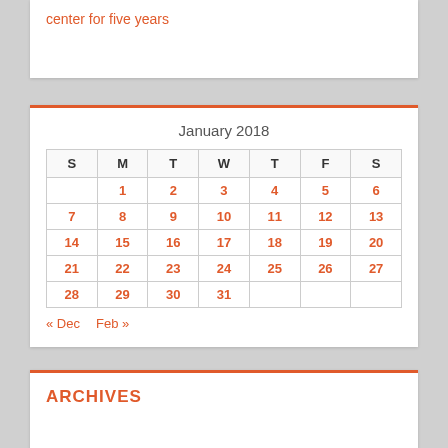center for five years
| S | M | T | W | T | F | S |
| --- | --- | --- | --- | --- | --- | --- |
|  | 1 | 2 | 3 | 4 | 5 | 6 |
| 7 | 8 | 9 | 10 | 11 | 12 | 13 |
| 14 | 15 | 16 | 17 | 18 | 19 | 20 |
| 21 | 22 | 23 | 24 | 25 | 26 | 27 |
| 28 | 29 | 30 | 31 |  |  |  |
« Dec   Feb »
ARCHIVES